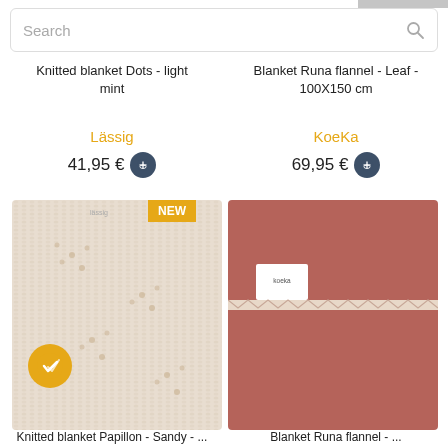[Figure (screenshot): Search bar with placeholder text 'Search' and search icon on the right]
Knitted blanket Dots - light mint
Blanket Runa flannel - Leaf - 100X150 cm
Lässig
41,95 €
KoeKa
69,95 €
[Figure (photo): Knitted blanket in light beige/sand color with dot pattern, showing a NEW badge in orange/yellow at top right corner, and a yellow checkmark badge at bottom left]
[Figure (photo): Blanket in dusty rose/terracotta color (Runa flannel) folded, with a KoeKa white label, and decorative stitch detail]
Knitted blanket Papillon - Sandy - ...
Blanket Runa flannel - ...